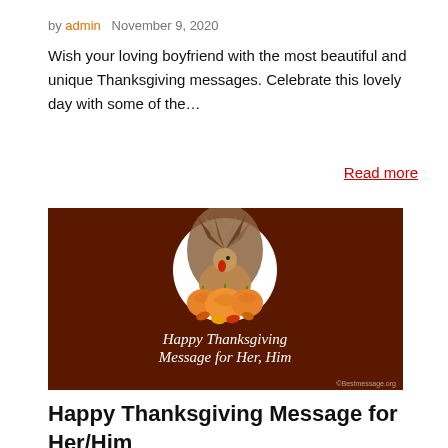by admin   November 9, 2020
Wish your loving boyfriend with the most beautiful and unique Thanksgiving messages. Celebrate this lovely day with some of the…
Read more
[Figure (illustration): Happy Thanksgiving Message for Her, Him — dark brown background with a circular illustration of a cartoon turkey with pumpkins and fall leaves, white serif text below reading 'Happy Thanksgiving Message for Her, Him', watermark ©Bestmessage.org]
Happy Thanksgiving Message for Her/Him